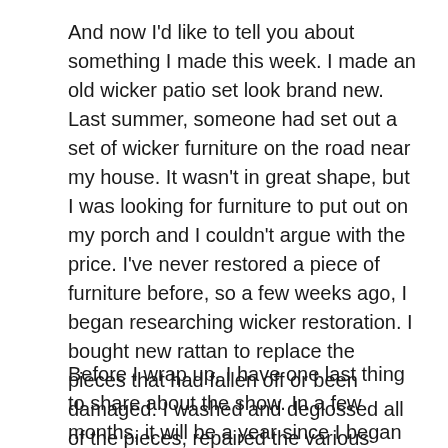And now I'd like to tell you about something I made this week. I made an old wicker patio set look brand new. Last summer, someone had set out a set of wicker furniture on the road near my house. It wasn't in great shape, but I was looking for furniture to put out on my porch and I couldn't argue with the price. I've never restored a piece of furniture before, so a few weeks ago, I began researching wicker restoration. I bought new rattan to replace the pieces that had fallen off or been damaged. I washed and deglossed all of the pieces, repaired the various areas that needed mending, and put on a new coat of bright sea foam spray paint. I absolutely love the result and am glad to be able to say that I've restored a wicker furniture set.
Before I wrap up, I have one last thing to share about the show. In a few months, it will be a year since I began making this podcast, and I've decided to move into a